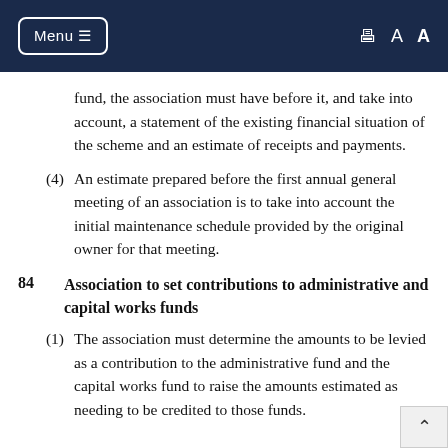Menu | Print | A A
fund, the association must have before it, and take into account, a statement of the existing financial situation of the scheme and an estimate of receipts and payments.
(4) An estimate prepared before the first annual general meeting of an association is to take into account the initial maintenance schedule provided by the original owner for that meeting.
84 Association to set contributions to administrative and capital works funds
(1) The association must determine the amounts to be levied as a contribution to the administrative fund and the capital works fund to raise the amounts estimated as needing to be credited to those funds.